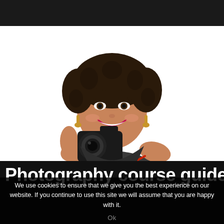[Figure (photo): A smiling woman with short curly dark hair holding a DSLR camera with a red strap, wearing a dark sleeveless top, posed against a white background.]
Photography course guide for
We use cookies to ensure that we give you the best experience on our website. If you continue to use this site we will assume that you are happy with it.
Ok